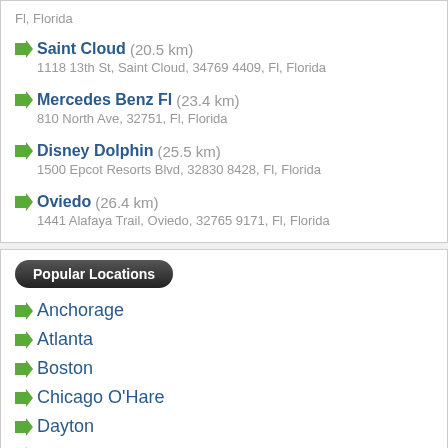Fl, Florida
Saint Cloud (20.5 km)
1118 13th St, Saint Cloud, 34769 4409, Fl, Florida
Mercedes Benz Fl (23.4 km)
810 North Ave, 32751, Fl, Florida
Disney Dolphin (25.5 km)
1500 Epcot Resorts Blvd, 32830 8428, Fl, Florida
Oviedo (26.4 km)
1441 Alafaya Trail, Oviedo, 32765 9171, Fl, Florida
Popular Locations
Anchorage
Atlanta
Boston
Chicago O'Hare
Dayton
Denver